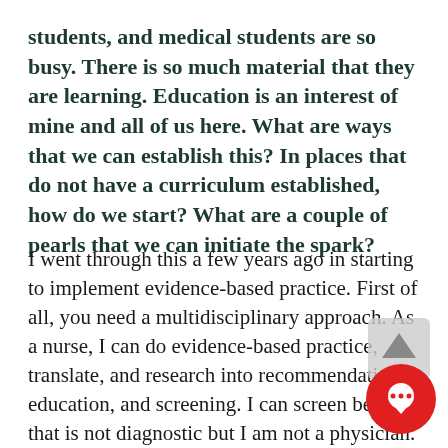students, and medical students are so busy. There is so much material that they are learning. Education is an interest of mine and all of us here. What are ways that we can establish this? In places that do not have a curriculum established, how do we start? What are a couple of pearls that we can initiate the spark?
I went through this a few years ago in starting to implement evidence-based practice. First of all, you need a multidisciplinary approach. As a nurse, I can do evidence-based practice, translate, and research into recommendations, education, and screening. I can screen because that is not diagnostic but I am not a physician. I am not billing, coding, and diagnosing either. We need to work